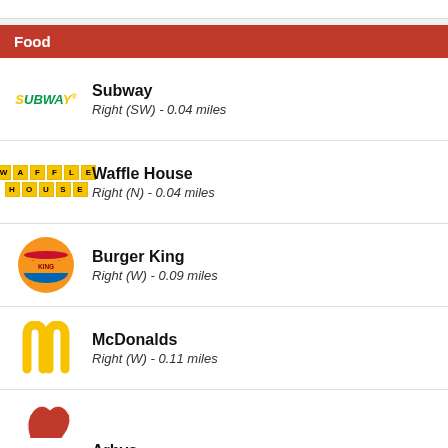Food
Subway
Right (SW) - 0.04 miles
Waffle House
Right (N) - 0.04 miles
Burger King
Right (W) - 0.09 miles
McDonalds
Right (W) - 0.11 miles
Arbys